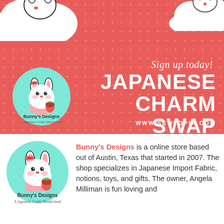[Figure (illustration): Promotional banner with coral/red background and polka dots. Features cloud shapes at top, a circular logo with bunny-cupcake character on mint green background labeled 'Bunny's Designs - A Japanese Crafty Wonderland', script text 'Sign up today!', bold white title 'JAPANESE CHARM SWAP', and URL 'WWW.SEWTOPIA.COM'.]
[Figure (logo): Circular logo on mint/teal background featuring a kawaii bunny-cupcake character holding a strawberry, with text 'Bunny's Designs' in bold and 'A Japanese Crafty Wonderland' in script below.]
Bunny's Designs is a online store based out of Austin, Texas that started in 2007. The shop specializes in Japanese Import Fabric, notions, toys, and gifts. The owner, Angela Milliman is fun loving and